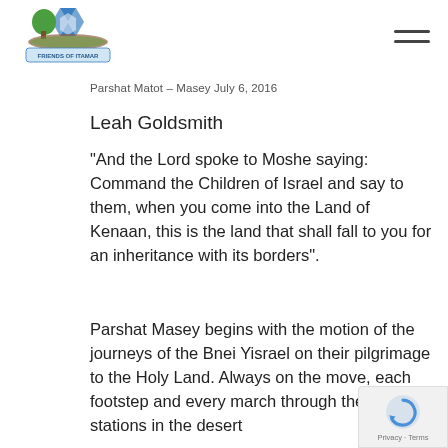[Figure (logo): Friends of Itamar logo with tree, Star of David, and agricultural fields]
Parshat Matot – Masey July 6, 2016
Leah Goldsmith
“And the Lord spoke to Moshe saying: Command the Children of Israel and say to them, when you come into the Land of Kenaan, this is the land that shall fall to you for an inheritance with its borders”.
Parshat Masey begins with the motion of the journeys of the Bnei Yisrael on their pilgrimage to the Holy Land. Always on the move, each footstep and every march through the forty two stations in the desert